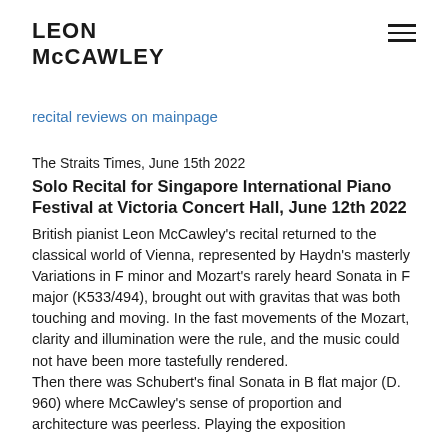LEON McCAWLEY
recital reviews on mainpage
The Straits Times, June 15th 2022
Solo Recital for Singapore International Piano Festival at Victoria Concert Hall, June 12th 2022
British pianist Leon McCawley’s recital returned to the classical world of Vienna, represented by Haydn’s masterly Variations in F minor and Mozart’s rarely heard Sonata in F major (K533/494), brought out with gravitas that was both touching and moving. In the fast movements of the Mozart, clarity and illumination were the rule, and the music could not have been more tastefully rendered.
Then there was Schubert’s final Sonata in B flat major (D. 960) where McCawley’s sense of proportion and architecture was peerless. Playing the exposition